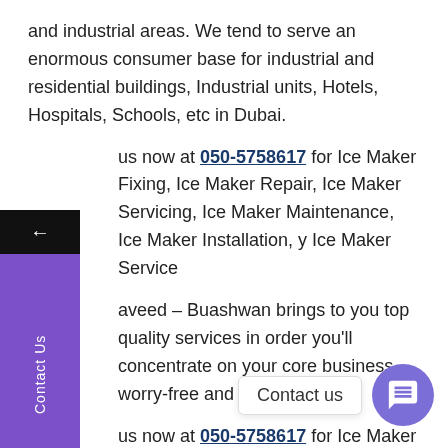and industrial areas. We tend to serve an enormous consumer base for industrial and residential buildings, Industrial units, Hotels, Hospitals, Schools, etc in Dubai.
Contact us now at 050-5758617 for Ice Maker Fixing, Ice Maker Repair, Ice Maker Servicing, Ice Maker Maintenance, Ice Maker Installation, any Ice Maker Service
Javeed – Buashwan brings to you top quality services in order that you'll concentrate on your core business worry-free and grow its.
Contact us now at 050-5758617 for Ice Maker Fixing, Ice Maker Repair, Ice Maker Servicing, Ice Maker Maintenance, Ice Maker Installation, any Ice Maker Service
Our skilled services square measure best for your and quality assured with skill secure. Our team of pros square measures people that square measure extremely motivated,